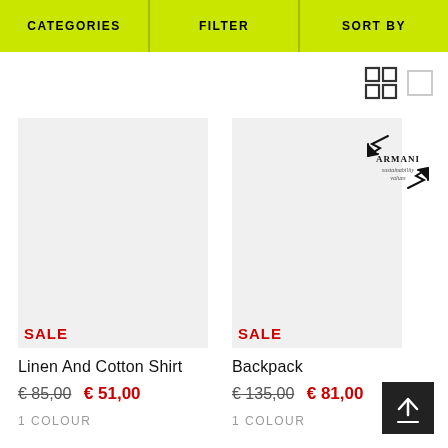CATEGORIES | FILTER | SORT BY
[Figure (screenshot): Grid view icon (2x2 squares) and list view icon (single square/rectangle), navigation view toggles]
[Figure (photo): Product image area for Linen And Cotton Shirt with SALE badge]
[Figure (photo): Product image area for Backpack with SALE badge]
[Figure (logo): Armani sustainability values logo with circular leaf/arrow design]
Linen And Cotton Shirt
€ 85,00  € 51,00  1 COLOUR
Backpack
€ 135,00  € 81,00  1 COLOUR